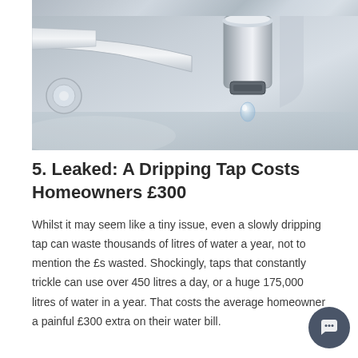[Figure (photo): Close-up photograph of a chrome kitchen/bathroom faucet with a water drop falling from the aerator, set against a metallic sink background.]
5. Leaked: A Dripping Tap Costs Homeowners £300
Whilst it may seem like a tiny issue, even a slowly dripping tap can waste thousands of litres of water a year, not to mention the £s wasted. Shockingly, taps that constantly trickle can use over 450 litres a day, or a huge 175,000 litres of water in a year. That costs the average homeowner a painful £300 extra on their water bill.